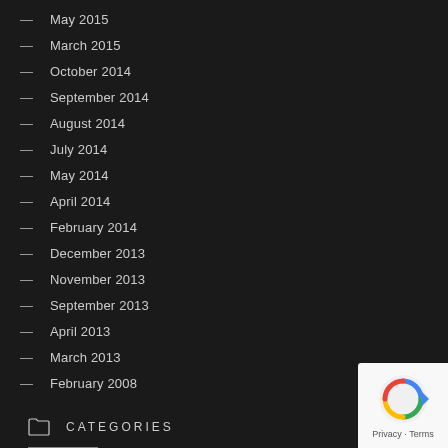May 2015
March 2015
October 2014
September 2014
August 2014
July 2014
May 2014
April 2014
February 2014
December 2013
November 2013
September 2013
April 2013
March 2013
February 2008
CATEGORIES